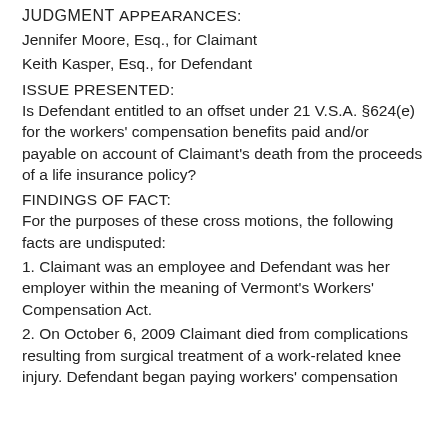JUDGMENT
APPEARANCES:
Jennifer Moore, Esq., for Claimant
Keith Kasper, Esq., for Defendant
ISSUE PRESENTED:
Is Defendant entitled to an offset under 21 V.S.A. §624(e) for the workers' compensation benefits paid and/or payable on account of Claimant's death from the proceeds of a life insurance policy?
FINDINGS OF FACT:
For the purposes of these cross motions, the following facts are undisputed:
1. Claimant was an employee and Defendant was her employer within the meaning of Vermont's Workers' Compensation Act.
2. On October 6, 2009 Claimant died from complications resulting from surgical treatment of a work-related knee injury. Defendant began paying workers' compensation